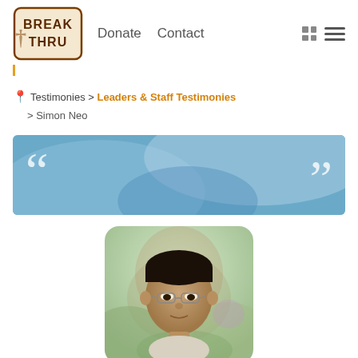BreakThru — Donate   Contact
Testimonies > Leaders & Staff Testimonies > Simon Neo
[Figure (illustration): Blue-toned banner with large white opening and closing quotation marks on left and right sides against a watercolor-style blue background.]
[Figure (photo): Portrait photo of Simon Neo, an Asian man wearing glasses, photographed outdoors with blurred green and purple foliage in the background.]